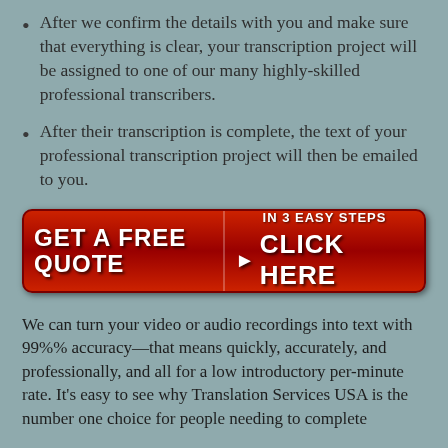After we confirm the details with you and make sure that everything is clear, your transcription project will be assigned to one of our many highly-skilled professional transcribers.
After their transcription is complete, the text of your professional transcription project will then be emailed to you.
[Figure (infographic): Red rounded-rectangle button with two sections: left side reads 'GET A FREE QUOTE' in white bold uppercase text, right side reads 'IN 3 EASY STEPS' above '▶ CLICK HERE' in white bold uppercase text.]
We can turn your video or audio recordings into text with 99%% accuracy—that means quickly, accurately, and professionally, and all for a low introductory per-minute rate. It's easy to see why Translation Services USA is the number one choice for people needing to complete